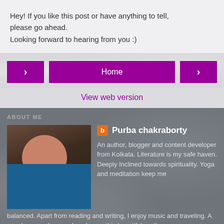Hey! If you like this post or have anything to tell, please go ahead.
Looking forward to hearing from you :)
[Figure (screenshot): Navigation bar with left arrow button, Home button in center, right arrow button]
View web version
ABOUT ME
[Figure (photo): Profile photo of Purba chakraborty]
Purba chakraborty
An author, blogger and content developer from Kolkata. Literature is my safe haven. Deeply Inclined towards spirituality. Yoga and meditation keep me balanced. Apart from reading and writing, I enjoy music and traveling. A wanderer, explorer and seeker on this beautiful earth.
View my complete profile
Powered by Blogger.